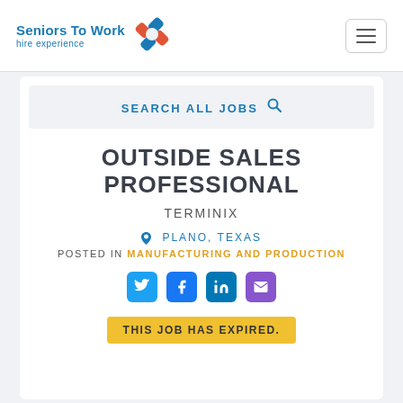Seniors To Work — hire experience
SEARCH ALL JOBS
OUTSIDE SALES PROFESSIONAL
TERMINIX
PLANO, TEXAS
POSTED IN MANUFACTURING AND PRODUCTION
[Figure (infographic): Social share icons: Twitter, Facebook, LinkedIn, Email]
THIS JOB HAS EXPIRED.